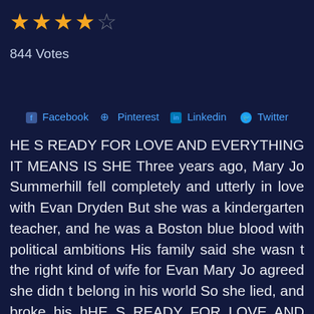[Figure (other): Star rating: 4.5 out of 5 stars (4 filled gold stars and 1 half/empty star)]
844 Votes
Facebook Pinterest Linkedin Twitter
HE S READY FOR LOVE AND EVERYTHING IT MEANS IS SHE Three years ago, Mary Jo Summerhill fell completely and utterly in love with Evan Dryden But she was a kindergarten teacher, and he was a Boston blue blood with political ambitions His family said she wasn t the right kind of wife for Evan Mary Jo agreed she didn t belong in his world So she lied, and broke his hHE S READY FOR LOVE AND EVERYTHING IT MEANS IS SHE Three years ago, Mary Jo Summerhill fell completely and utterly